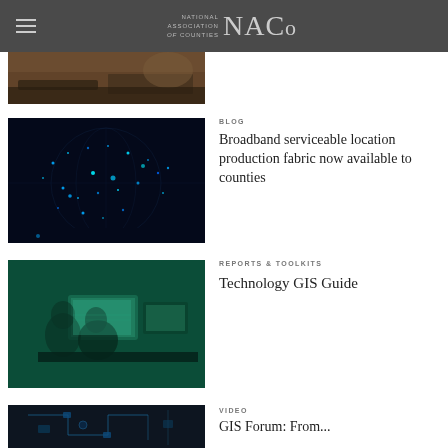NACo - National Association of Counties
[Figure (photo): Partial view of hands using laptop/phone device, cropped at top]
[Figure (photo): Digital world map with glowing blue data points]
BLOG
Broadband serviceable location production fabric now available to counties
[Figure (photo): People working at computer monitors with teal/green color overlay]
REPORTS & TOOLKITS
Technology GIS Guide
[Figure (photo): Circuit board close-up, partial view at bottom]
VIDEO
GIS Forum: From...